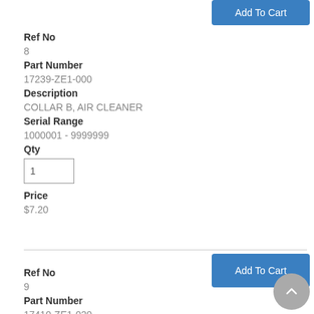Add To Cart
Ref No
8
Part Number
17239-ZE1-000
Description
COLLAR B, AIR CLEANER
Serial Range
1000001 - 9999999
Qty
Price
$7.20
Add To Cart
Ref No
9
Part Number
17410-ZE1-020